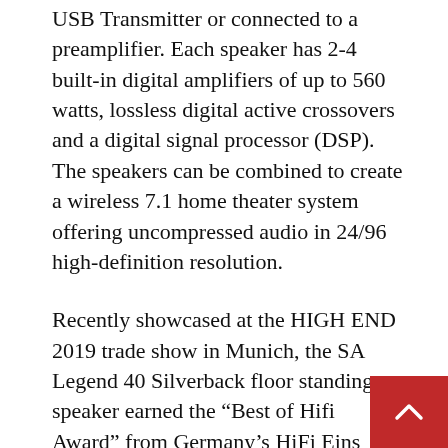USB Transmitter or connected to a preamplifier. Each speaker has 2-4 built-in digital amplifiers of up to 560 watts, lossless digital active crossovers and a digital signal processor (DSP). The speakers can be combined to create a wireless 7.1 home theater system offering uncompressed audio in 24/96 high-definition resolution.
Recently showcased at the HIGH END 2019 trade show in Munich, the SA Legend 40 Silverback floor standing speaker earned the “Best of Hifi Award” from Germany’s HiFi Eins Null Magaz
“WiSA’s technology is the most important